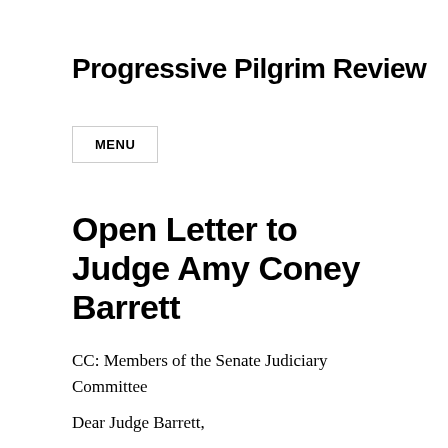Progressive Pilgrim Review
MENU
Open Letter to Judge Amy Coney Barrett
CC: Members of the Senate Judiciary Committee
Dear Judge Barrett,